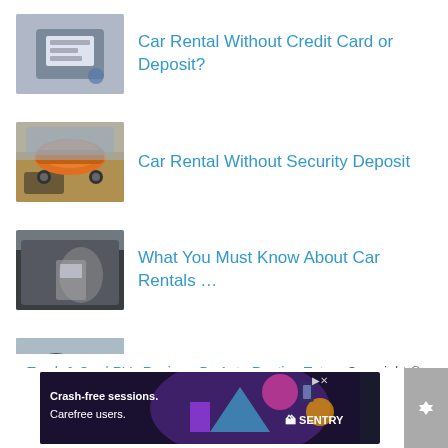Car Rental Without Credit Card or Deposit?
Car Rental Without Security Deposit
What You Must Know About Car Rentals …
Can My Wife Drive My Rented Car …
Truck & Car | RVs Reviews By Auto Renting Tutors Copyright ©
[Figure (screenshot): Advertisement banner for Sentry: 'Crash-free sessions. Carefree users.' with colorful graphic and Sentry logo]